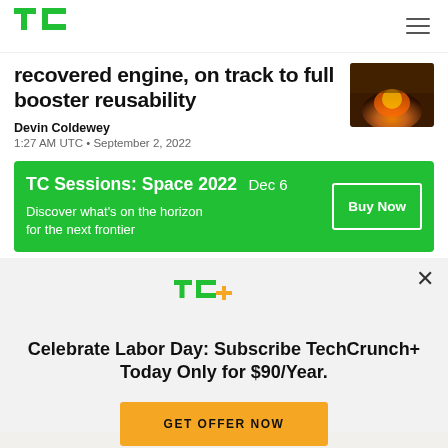TC (TechCrunch logo) with hamburger menu
recovered engine, on track to full booster reusability
Devin Coldewey
1:27 AM UTC • September 2, 2022
[Figure (photo): Thumbnail image of rocket engine fire/exhaust]
TC Sessions: Space 2022  Dec 6
Discover what's on the horizon for the next frontier
Buy Now
[Figure (logo): TC+ TechCrunch Plus logo in green]
Celebrate Labor Day: Subscribe TechCrunch+ Today Only for $90/Year.
GET OFFER NOW